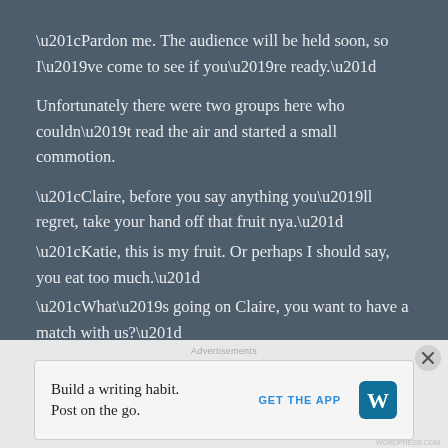“Pardon me. The audience will be held soon, so I’ve come to see if you’re ready.”
Unfortunately there were two groups here who couldn’t read the air and started a small commotion.
“Claire, before you say anything you’ll regret, take your hand off that fruit nya.”
“Katie, this is my fruit. Or perhaps I should say, you eat too much.”
“What’s going on Claire, you want to have a match with us?”
“That’s great Ah-nyan, let’s settle this!”
Advertisements
Build a writing habit.
Post on the go.
GET THE APP